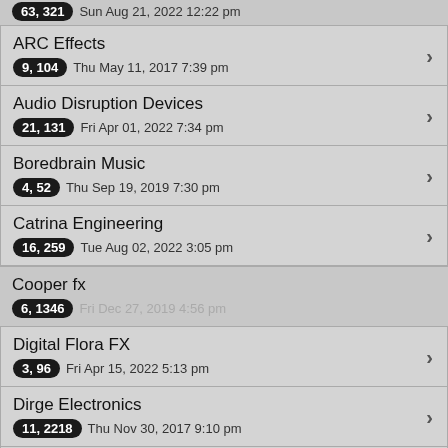63, 321  Sun Aug 21, 2022 12:22 pm
ARC Effects
9, 104  Thu May 11, 2017 7:39 pm
Audio Disruption Devices
21, 131  Fri Apr 01, 2022 7:34 pm
Boredbrain Music
4, 52  Thu Sep 19, 2019 7:30 pm
Catrina Engineering
16, 259  Tue Aug 02, 2022 3:05 pm
Cooper fx
6, 1346  Fri Dec 27, 2019 4:56 pm
Digital Flora FX
3, 96  Fri Apr 15, 2022 5:13 pm
Dirge Electronics
11, 2218  Thu Nov 30, 2017 9:10 pm
drolo
9, 559  Sun Sep 19, 2021 7:36 pm
Dropping Acid Pedal Etching